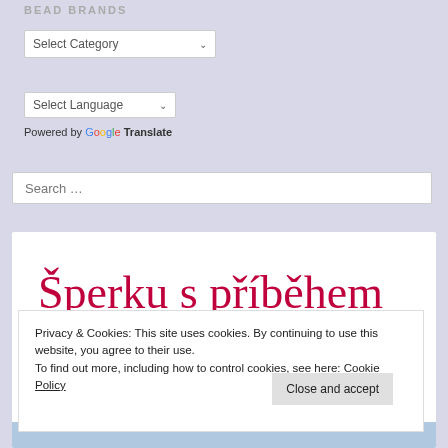BEAD BRANDS
Select Category
Select Language
Powered by Google Translate
Search ...
[Figure (screenshot): Website panel showing cursive Czech text 'Šperku s příběhem' in red/pink on white background]
Privacy & Cookies: This site uses cookies. By continuing to use this website, you agree to their use.
To find out more, including how to control cookies, see here: Cookie Policy
Close and accept